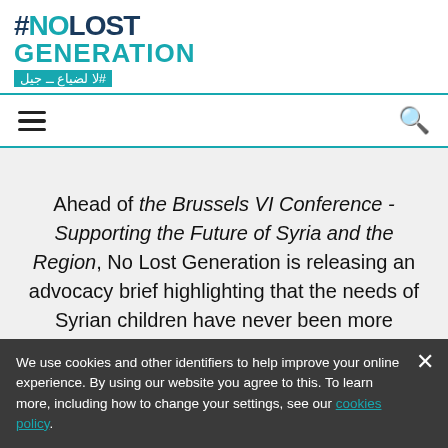[Figure (logo): #NOLOST GENERATION logo with Arabic text on teal background]
Navigation bar with hamburger menu and search icon
Ahead of the Brussels VI Conference - Supporting the Future of Syria and the Region, No Lost Generation is releasing an advocacy brief highlighting that the needs of Syrian children have never been more urgent, despite the decreasing international attention on Syria. 2022 has seen the
We use cookies and other identifiers to help improve your online experience. By using our website you agree to this. To learn more, including how to change your settings, see our cookies policy.